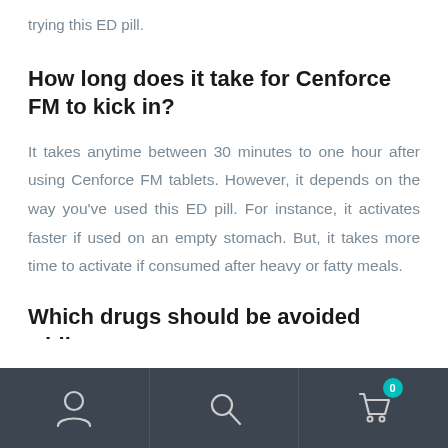trying this ED pill.
How long does it take for Cenforce FM to kick in?
It takes anytime between 30 minutes to one hour after using Cenforce FM tablets. However, it depends on the way you've used this ED pill. For instance, it activates faster if used on an empty stomach. But, it takes more time to activate if consumed after heavy or fatty meals.
Which drugs should be avoided while
Navigation bar with user, search, and cart (0) icons